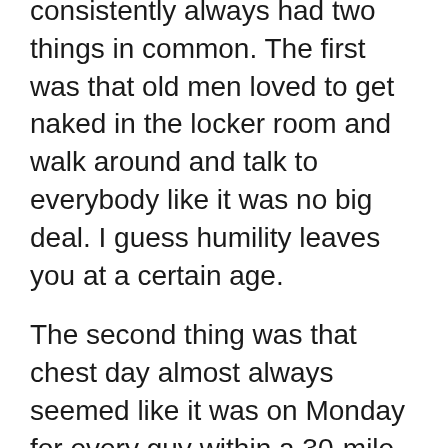Every gym that I have ever trained at consistently always had two things in common. The first was that old men loved to get naked in the locker room and walk around and talk to everybody like it was no big deal. I guess humility leaves you at a certain age.
The second thing was that chest day almost always seemed like it was on Monday for every guy within a 30-mile radius. Good luck getting a bench as there was always a significant wait on this day of the week.
If you could narrow down strength training to one word, it would probably